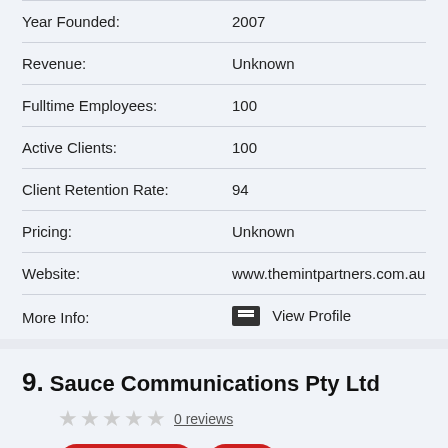| Field | Value |
| --- | --- |
| Year Founded: | 2007 |
| Revenue: | Unknown |
| Fulltime Employees: | 100 |
| Active Clients: | 100 |
| Client Retention Rate: | 94 |
| Pricing: | Unknown |
| Website: | www.themintpartners.com.au |
| More Info: | View Profile |
9. Sauce Communications Pty Ltd
0 reviews
Visit Website   Call
Key Facts For Sauce Communications Pty Ltd